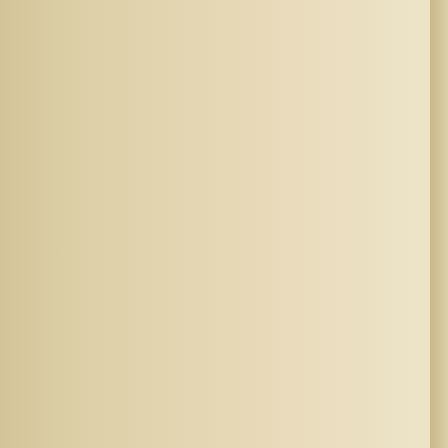bit of business, taking swigs on careful so I had to play the scene without one. without drying up, so closely were the w actor associates a particular word or sp tricky piece of mechanism, and relies v Harvey's advice, "Always see to the pro there was another bottle in the cupboa
Of course, there is the case of the acto was required to commit suicide on stag necessitated the firing by the A.S.M., of knowing the frailty of human nature, an carried a small bottle, presumably of po revolver at his temple, but no shot came revolver away, he took the poison...As h It was clearly a case of "better never tha
Chapter 17
One day, I went into the Green Room C recruits for the Admiralty Arch Section o into uniform, for part-time duties, so I w collection of mostly elderly aristocrats - with Headquarters, suitably, at Carlton h Admiralty Arch against advancing pede firmly to keep to the side walk, and not War, I never found out. I ventured to su might be quite effective, but this was he Gentlemen, when off duty, an opportuni First War, or Boer War, or even the Mat
One distinguished old General, coming cleaning it, and the bullet struck the sa